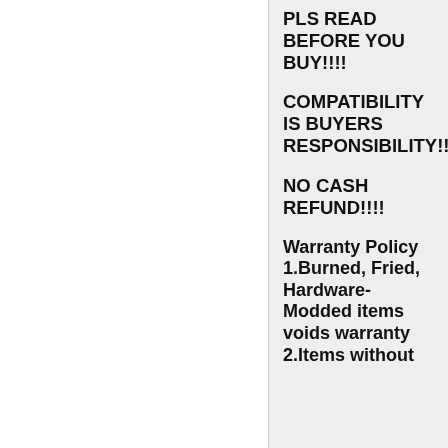PLS READ BEFORE YOU BUY!!!!
COMPATIBILITY IS BUYERS RESPONSIBILITY!!!
NO CASH REFUND!!!!
Warranty Policy
1.Burned, Fried, Hardware-Modded items voids warranty
2.Items without